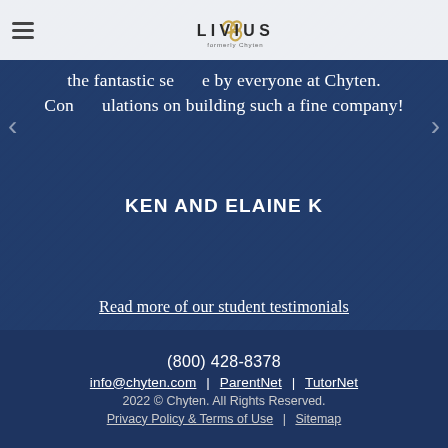Livius (formerly Chyten) logo with hamburger menu
the fantastic service by everyone at Chyten. Congratulations on building such a fine company!
KEN AND ELAINE K
Read more of our student testimonials
(800) 428-8378
info@chyten.com | ParentNet | TutorNet
2022 © Chyten. All Rights Reserved.
Privacy Policy & Terms of Use | Sitemap